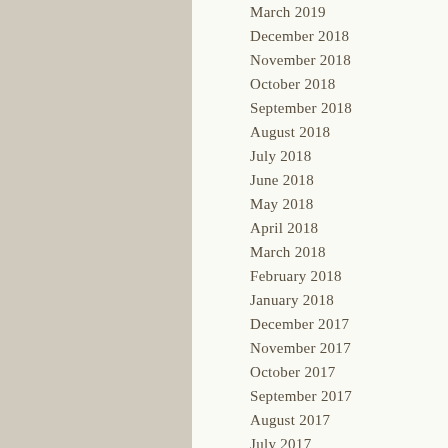March 2019
December 2018
November 2018
October 2018
September 2018
August 2018
July 2018
June 2018
May 2018
April 2018
March 2018
February 2018
January 2018
December 2017
November 2017
October 2017
September 2017
August 2017
July 2017
June 2017
May 2017
April 2017
March 2017